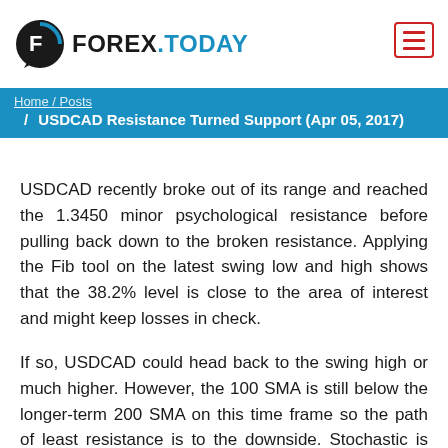FOREX.TODAY
/ USDCAD Resistance Turned Support (Apr 05, 2017)
USDCAD recently broke out of its range and reached the 1.3450 minor psychological resistance before pulling back down to the broken resistance. Applying the Fib tool on the latest swing low and high shows that the 38.2% level is close to the area of interest and might keep losses in check.
If so, USDCAD could head back to the swing high or much higher. However, the 100 SMA is still below the longer-term 200 SMA on this time frame so the path of least resistance is to the downside. Stochastic is indicating oversold conditions and is turning higher, though, suggesting that